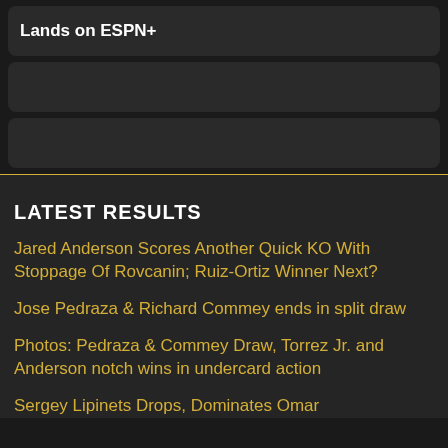Lands on ESPN+
LATEST RESULTS
Jared Anderson Scores Another Quick KO With Stoppage Of Rovcanin; Ruiz-Ortiz Winner Next?
Jose Pedraza & Richard Commey ends in split draw
Photos: Pedraza & Commey Draw, Torrez Jr. and Anderson notch wins in undercard action
Sergey Lipinets Drops, Dominates Omar